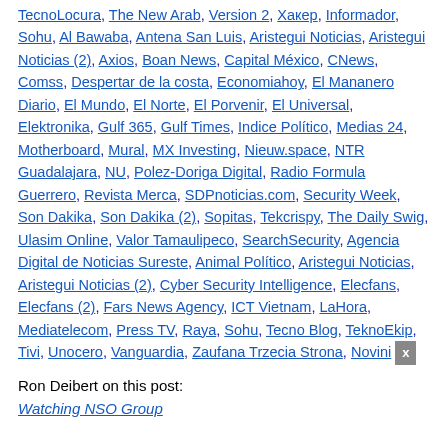TecnoLocura, The New Arab, Version 2, Хакер, Informador, Sohu, Al Bawaba, Antena San Luis, Aristegui Noticias, Aristegui Noticias (2), Axios, Boan News, Capital México, CNews, Comss, Despertar de la costa, Economiahoy, El Mananero Diario, El Mundo, El Norte, El Porvenir, El Universal, Elektronika, Gulf 365, Gulf Times, Indice Político, Medias 24, Motherboard, Mural, MX Investing, Nieuw.space, NTR Guadalajara, NU, Polez-Doriga Digital, Radio Formula Guerrero, Revista Merca, SDPnoticias.com, Security Week, Son Dakika, Son Dakika (2), Sopitas, Tekcrispy, The Daily Swig, Ulasim Online, Valor Tamaulipeco, SearchSecurity, Agencia Digital de Noticias Sureste, Animal Político, Aristegui Noticias, Aristegui Noticias (2), Cyber Security Intelligence, Elecfans, Elecfans (2), Fars News Agency, ICT Vietnam, LaHora, Mediatelecom, Press TV, Raya, Sohu, Tecno Blog, TeknoEkip, Tivi, Unocero, Vanguardia, Zaufana Trzecia Strona, Novini
Ron Deibert on this post:
Watching NSO Group